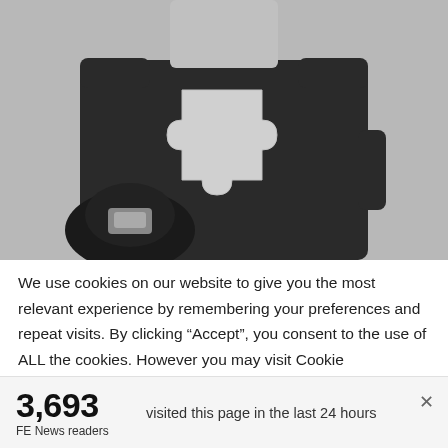[Figure (photo): A person in a dark police-style uniform holding a hat, with a puzzle piece graphic overlaid on their chest. The image appears as a placeholder with a grey puzzle piece icon.]
We use cookies on our website to give you the most relevant experience by remembering your preferences and repeat visits. By clicking “Accept”, you consent to the use of ALL the cookies. However you may visit Cookie
3,693
FE News readers
visited this page in the last 24 hours